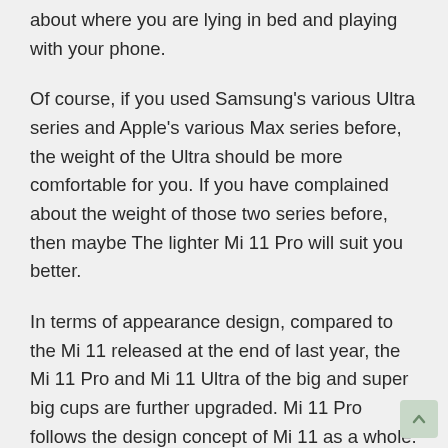about where you are lying in bed and playing with your phone.
Of course, if you used Samsung's various Ultra series and Apple's various Max series before, the weight of the Ultra should be more comfortable for you. If you have complained about the weight of those two series before, then maybe The lighter Mi 11 Pro will suit you better.
In terms of appearance design, compared to the Mi 11 released at the end of last year, the Mi 11 Pro and Mi 11 Ultra of the big and super big cups are further upgraded. Mi 11 Pro follows the design concept of Mi 11 as a whole. The back shell is made of glass, and it is available in three colors: Pine Wind Green, Dream Purple, and Dream Black. As you can